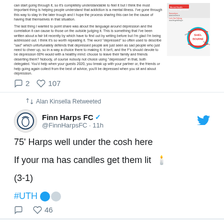[Figure (screenshot): Top partial tweet with text content and an image attachment showing a red/blue circular logo. Shows 2 replies and 107 likes.]
Alan Kinsella Retweeted
Finn Harps FC @FinnHarpsFC · 11h
75' Harps well under the cosh here

If your ma has candles get them lit 🕯

(3-1)

#UTH
46 likes
Alan Kinsella Retweeted